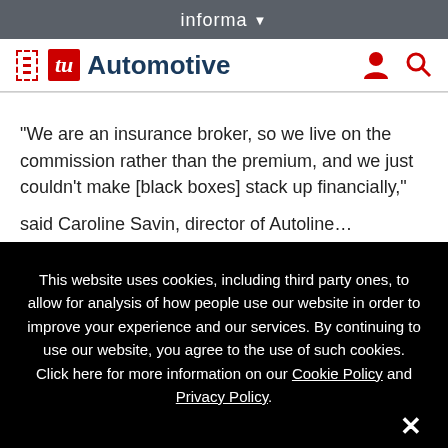informa ▾
[Figure (logo): WardsAuto / TU Automotive logo with hamburger menu, person icon and search icon]
“We are an insurance broker, so we live on the commission rather than the premium, and we just couldn’t make [black boxes] stack up financially,”
This website uses cookies, including third party ones, to allow for analysis of how people use our website in order to improve your experience and our services. By continuing to use our website, you agree to the use of such cookies. Click here for more information on our Cookie Policy and Privacy Policy.